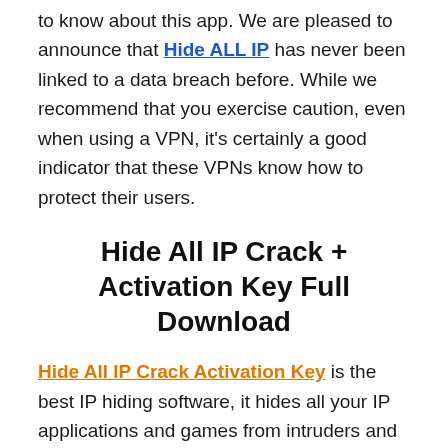to know about this app. We are pleased to announce that Hide ALL IP has never been linked to a data breach before. While we recommend that you exercise caution, even when using a VPN, it's certainly a good indicator that these VPNs know how to protect their users.
Hide All IP Crack + Activation Key Full Download
Hide All IP Crack Activation Key is the best IP hiding software, it hides all your IP applications and games from intruders and hackers, you can browse without revealing your identity, prevent identity theft, and protect yourself from intruders, it requires